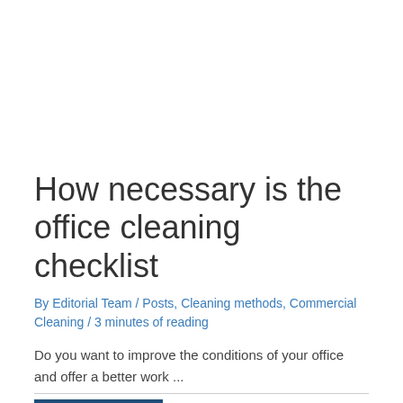How necessary is the office cleaning checklist
By Editorial Team / Posts, Cleaning methods, Commercial Cleaning / 3 minutes of reading
Do you want to improve the conditions of your office and offer a better work ...
Read More »